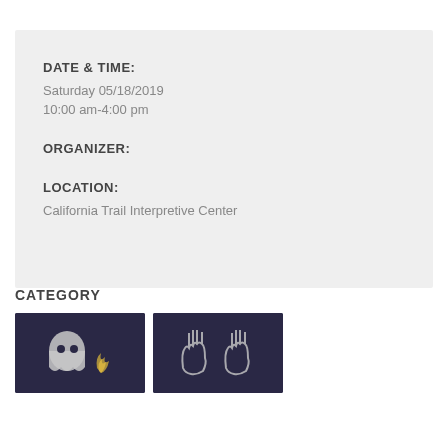DATE & TIME:
Saturday 05/18/2019
10:00 am-4:00 pm
ORGANIZER:
LOCATION:
California Trail Interpretive Center
CATEGORY
[Figure (photo): Two dark photos partially visible at bottom of page showing cave art or rock art imagery]
[Figure (photo): Second photo showing hand prints or cave art imagery]